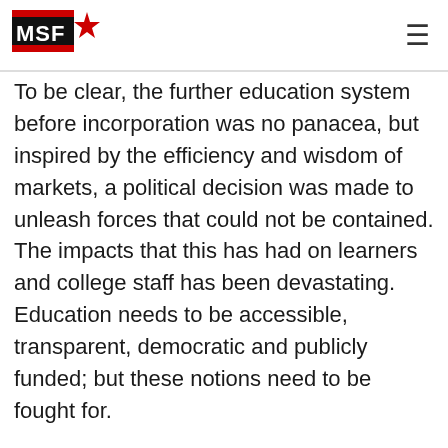MSF (logo)
To be clear, the further education system before incorporation was no panacea, but inspired by the efficiency and wisdom of markets, a political decision was made to unleash forces that could not be contained. The impacts that this has had on learners and college staff has been devastating. Education needs to be accessible, transparent, democratic and publicly funded; but these notions need to be fought for.